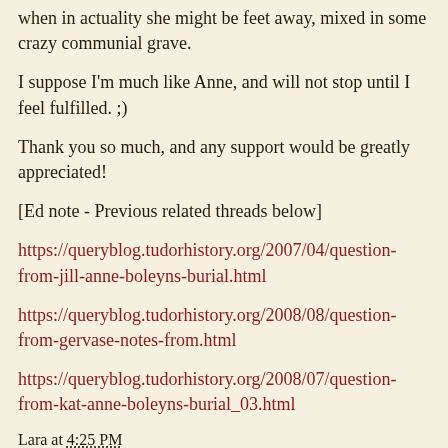when in actuality she might be feet away, mixed in some crazy communial grave.
I suppose I'm much like Anne, and will not stop until I feel fulfilled. ;)
Thank you so much, and any support would be greatly appreciated!
[Ed note - Previous related threads below]
https://queryblog.tudorhistory.org/2007/04/question-from-jill-anne-boleyns-burial.html
https://queryblog.tudorhistory.org/2008/08/question-from-gervase-notes-from.html
https://queryblog.tudorhistory.org/2008/07/question-from-kat-anne-boleyns-burial_03.html
Lara at 4:25 PM